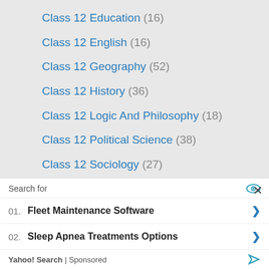Class 12 Education (16)
Class 12 English (16)
Class 12 Geography (52)
Class 12 History (36)
Class 12 Logic And Philosophy (18)
Class 12 Political Science (38)
Class 12 Sociology (27)
Class 12 Swadesh Adhyayan (10)
Class 12 Commerce Solutions (85)
Search for
01. Fleet Maintenance Software
02. Sleep Apnea Treatments Options
Yahoo! Search | Sponsored